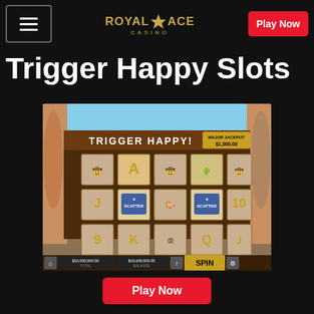ROYAL ACE CASINO — Play Now
Trigger Happy Slots
[Figure (screenshot): Trigger Happy slot machine game screenshot showing a Wild West themed slot with 5 reels, scatter symbols, a major jackpot display showing $1,000.00, total $10,000,000.50, balance $19,605,000.05, and a SPIN button]
[Figure (other): Play Now red button]
Trigger Happy Slots is an action-packed Wild West and Cowboy-themed slot machine game that brings various